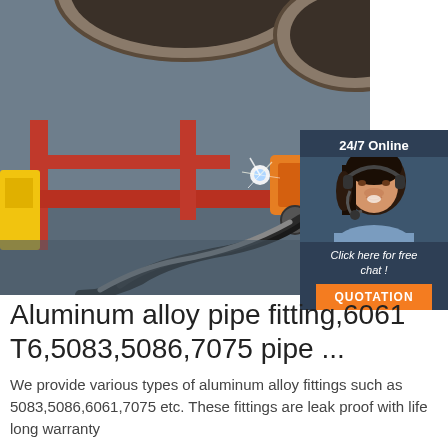[Figure (photo): Industrial welding/pipe fitting machinery in a workshop — large metal pipes on a red frame with welding sparks and hoses, orange welding machine visible.]
[Figure (infographic): 24/7 Online chat widget with a female customer service representative wearing a headset, dark blue background, 'Click here for free chat!' text and orange QUOTATION button.]
Aluminum alloy pipe fitting,6061 T6,5083,5086,7075 pipe ...
We provide various types of aluminum alloy fittings such as 5083,5086,6061,7075 etc. These fittings are leak proof with life long warranty